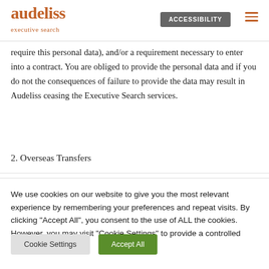audeliss executive search | ACCESSIBILITY
d. Statutory/contractual requirement: ... may be required for a contractual requirement (e.g. our client may require this personal data), and/or a requirement necessary to enter into a contract. You are obliged to provide the personal data and if you do not the consequences of failure to provide the data may result in Audeliss ceasing the Executive Search services.
2. Overseas Transfers
We use cookies on our website to give you the most relevant experience by remembering your preferences and repeat visits. By clicking "Accept All", you consent to the use of ALL the cookies. However, you may visit "Cookie Settings" to provide a controlled consent.
Cookie Settings | Accept All